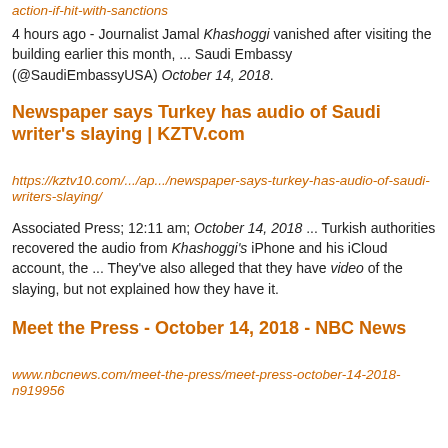action-if-hit-with-sanctions
4 hours ago - Journalist Jamal Khashoggi vanished after visiting the building earlier this month, ... Saudi Embassy (@SaudiEmbassyUSA) October 14, 2018.
Newspaper says Turkey has audio of Saudi writer's slaying | KZTV.com
https://kztv10.com/.../ap.../newspaper-says-turkey-has-audio-of-saudi-writers-slaying/
Associated Press; 12:11 am; October 14, 2018 ... Turkish authorities recovered the audio from Khashoggi's iPhone and his iCloud account, the ... They've also alleged that they have video of the slaying, but not explained how they have it.
Meet the Press - October 14, 2018 - NBC News
www.nbcnews.com/meet-the-press/meet-press-october-14-2018-n919956